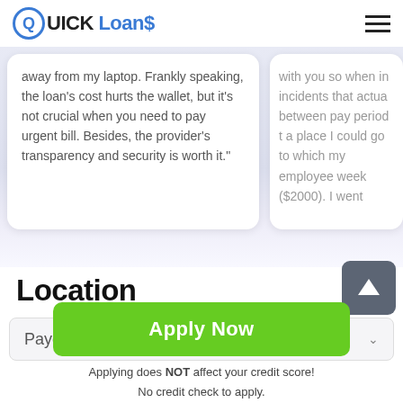QUICK Loans
away from my laptop. Frankly speaking, the loan's cost hurts the wallet, but it's not crucial when you need to pay urgent bill. Besides, the provider's transparency and security is worth it."
with you so when incidents that actually between pay periods a place I could go to which my employees week ($2000). I went
Location
Payday Loans
Apply Now
Applying does NOT affect your credit score! No credit check to apply.